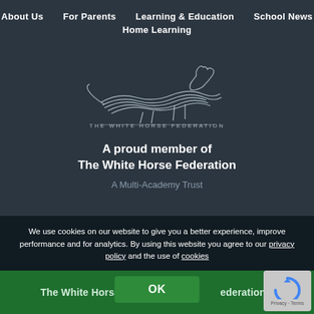About Us  For Parents  Learning & Education  School News  Home Learning
[Figure (logo): The White Horse Federation logo — a stylized running horse above the text THE WHITE HORSE FEDERATION]
A proud member of
The White Horse Federation
A Multi-Academy Trust
We use cookies on our website to give you a better experience, improve performance and for analytics. By using this website you agree to our privacy policy and the use of cookies
OK
The White Horse Federation ▾